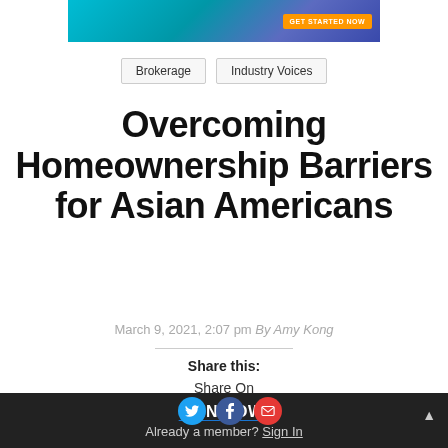[Figure (other): Advertisement banner with teal/blue gradient background and orange GET STARTED NOW button]
Brokerage   Industry Voices
Overcoming Homeownership Barriers for Asian Americans
March 9, 2021, 2:07 pm By Amy Kong
Share this:
Share On
JOIN NOW!
Already a member? Sign In